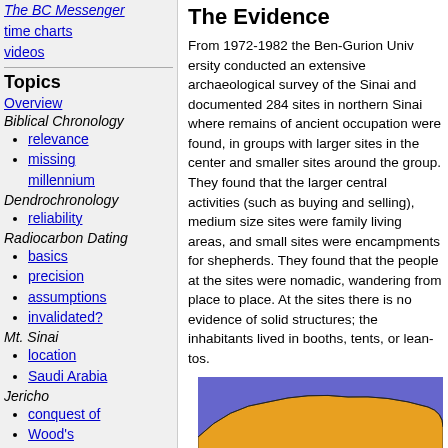The BC Messenger
time charts
videos
Topics
Overview
Biblical Chronology
relevance
missing millennium
Dendrochronology
reliability
Radiocarbon Dating
basics
precision
assumptions
invalidated?
Mt. Sinai
location
Saudi Arabia
Jericho
conquest of
Wood's chronology
Ai
The Evidence
From 1972-1982 the Ben-Gurion University conducted an extensive archaeological survey of the Sinai and documented 284 sites in northern Sinai where remains of ancient occupation were found, in groups with larger sites in the center and smaller sites around the group. They found that the larger sites were for central activities (such as buying and selling), medium size sites were family living areas, and small sites were encampments for shepherds. They found that the people at the sites were nomadic, wandering from place to place. At the sites there is no evidence of solid structures; the inhabitants lived in booths, tents, or lean-tos.
[Figure (map): Map of northern Sinai region showing land masses in orange/gold and water in blue/purple, with small black dots indicating archaeological sites along the coast]